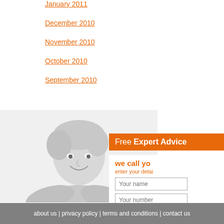January 2011
December 2010
November 2010
October 2010
September 2010
[Figure (photo): Black and white photo of a smiling middle-aged woman with short blonde hair, arms crossed, wearing a blazer]
Free Expert Advice
we call yo
enter your detai
Your name
Your number
Your details will be passed direct
about us | privacy policy | terms and conditions | contact us